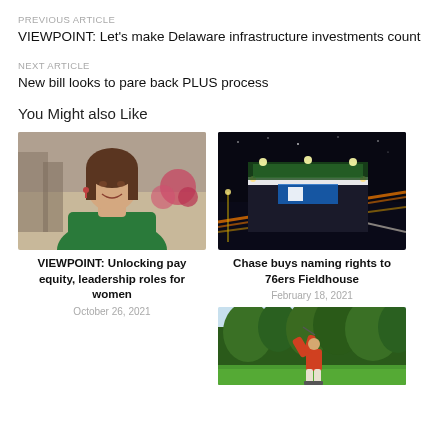PREVIOUS ARTICLE
VIEWPOINT: Let's make Delaware infrastructure investments count
NEXT ARTICLE
New bill looks to pare back PLUS process
You Might also Like
[Figure (photo): Woman in green blouse smiling outdoors in urban setting]
VIEWPOINT: Unlocking pay equity, leadership roles for women
October 26, 2021
[Figure (photo): Aerial night view of 76ers Fieldhouse arena with light trails from traffic]
Chase buys naming rights to 76ers Fieldhouse
February 18, 2021
[Figure (photo): Golfer swinging at a golf course with trees in background]